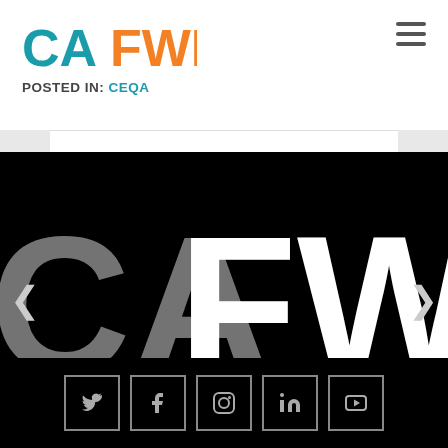[Figure (logo): CAFWD logo with teal CA and orange FWD letters]
POSTED IN: CEQA
[Figure (illustration): Large CAFWD logo in white and gray on black background, slideshow with left and right arrows]
[Figure (infographic): Social media icon bar with Twitter, Facebook, Instagram, LinkedIn, YouTube icons in square outlines on black background]